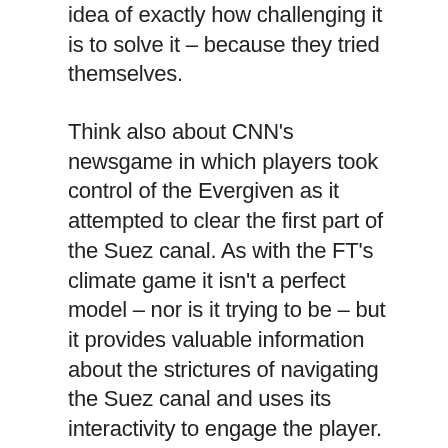idea of exactly how challenging it is to solve it – because they tried themselves.
Think also about CNN's newsgame in which players took control of the Evergiven as it attempted to clear the first part of the Suez canal. As with the FT's climate game it isn't a perfect model – nor is it trying to be – but it provides valuable information about the strictures of navigating the Suez canal and uses its interactivity to engage the player. And since the vast, vast majority of newsgames are playable in-browser, they are widely accessible and under the total control of the publisher.
In the blurb for the book 'Newsgames: Journalism at Play' the authors note: